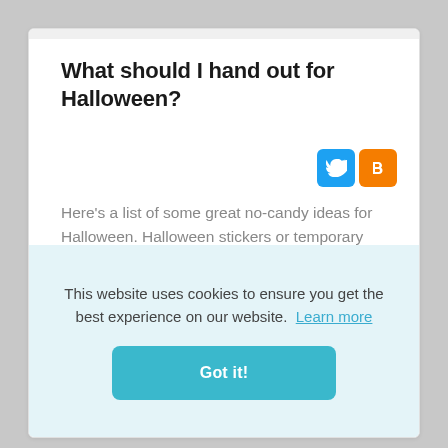What should I hand out for Halloween?
Here's a list of some great no-candy ideas for Halloween. Halloween stickers or temporary tattoos. Mini cans of play-doh. Small cheap toys (rubber ducks, bouncy balls
This website uses cookies to ensure you get the best experience on our website.  Learn more
Got it!